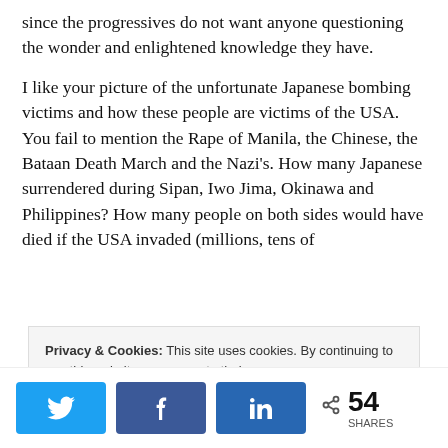since the progressives do not want anyone questioning the wonder and enlightened knowledge they have.
I like your picture of the unfortunate Japanese bombing victims and how these people are victims of the USA. You fail to mention the Rape of Manila, the Chinese, the Bataan Death March and the Nazi's. How many Japanese surrendered during Sipan, Iwo Jima, Okinawa and Philippines? How many people on both sides would have died if the USA invaded (millions, tens of
Privacy & Cookies: This site uses cookies. By continuing to use this website, you agree to their use.
To find out more, including how to control cookies, see here: Cookie Policy
54 SHARES